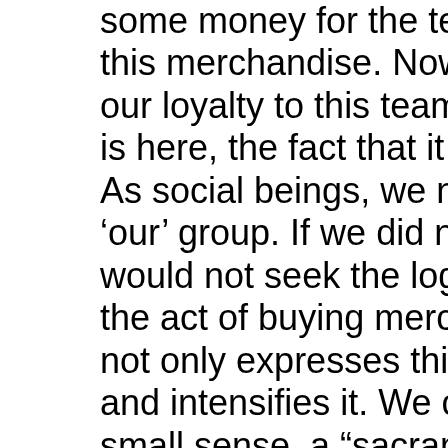some money for the team. this merchandise. Now the our loyalty to this team. Th is here, the fact that it is ou As social beings, we natur 'our' group. If we did not fe would not seek the logo. C the act of buying merchand not only expresses this loy and intensifies it. We coul small sense, a "sacrament